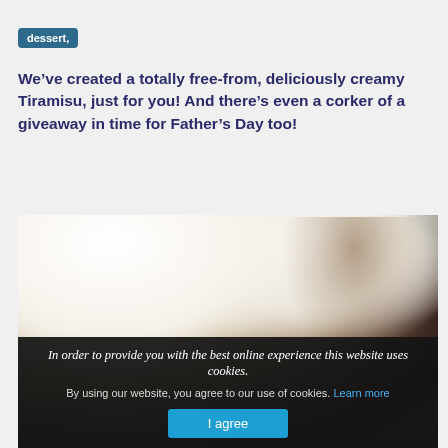dessert,
We’ve created a totally free-from, deliciously creamy Tiramisu, just for you! And there’s even a corker of a giveaway in time for Father’s Day too!
[Figure (photo): Two glass cups of layered Tiramisu dessert with whipped cream and cocoa powder on top, photographed on a dark background]
In order to provide you with the best online experience this website uses cookies.
By using our website, you agree to our use of cookies. Learn more
I agree